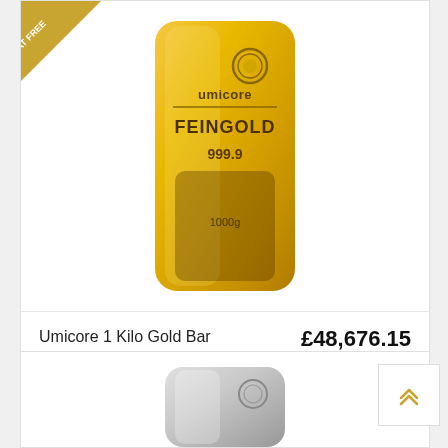[Figure (photo): Gold bar with 'umicore FEINGOLD 999.9' text and Umicore logo. VAT FREE ribbon in top-left corner.]
Umicore 1 Kilo Gold Bar
£48,676.15
[Figure (photo): Partial view of a silver/white metal bar with Umicore logo visible.]